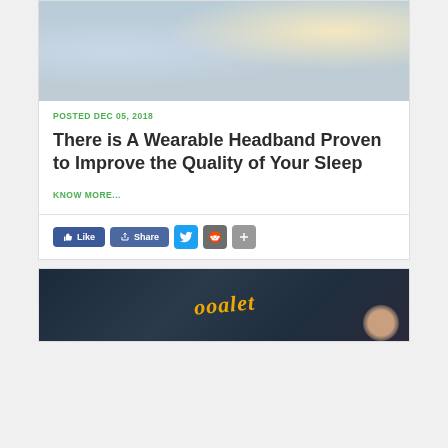[Figure (photo): Person in blue shirt stretching or waking up, soft indoor lighting with warm light source in background]
POSTED DEC 05, 2018
There is A Wearable Headband Proven to Improve the Quality of Your Sleep
KNOW MORE...
[Figure (infographic): Social sharing buttons row: Like (Facebook blue), Share (Facebook blue), Twitter bird icon (blue), Reddit alien icon (gray), plus/more icon (gray)]
[Figure (photo): Dark background with golden/yellow stylized cursive logo text partially visible, and partial face or circle on right edge]